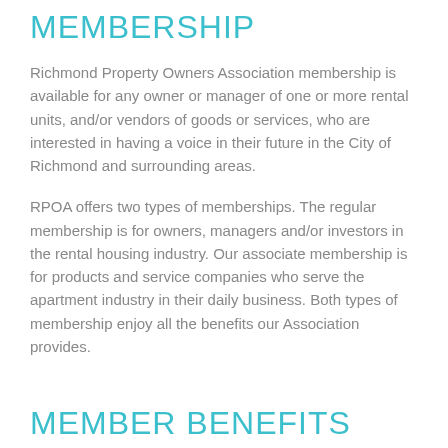MEMBERSHIP
Richmond Property Owners Association membership is available for any owner or manager of one or more rental units, and/or vendors of goods or services, who are interested in having a voice in their future in the City of Richmond and surrounding areas.
RPOA offers two types of memberships. The regular membership is for owners, managers and/or investors in the rental housing industry. Our associate membership is for products and service companies who serve the apartment industry in their daily business. Both types of membership enjoy all the benefits our Association provides.
MEMBER BENEFITS
Both types of membership enjoy the benefits our Association provides.